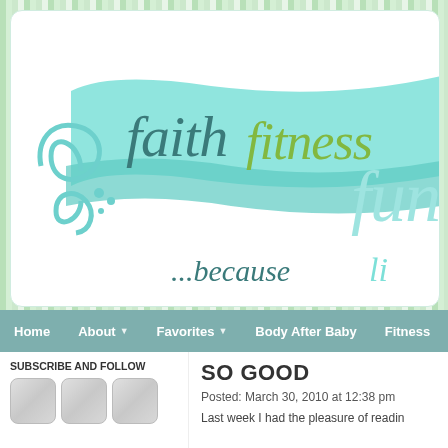[Figure (logo): Faith Fitness Fun blog logo — teal ribbon/banner with decorative swirl, 'faith' in teal script, 'fitness' in green script, 'fun' in light teal script, tagline '...because li' visible at bottom right]
Home | About | Favorites | Body After Baby | Fitness
SUBSCRIBE AND FOLLOW
SO GOOD
Posted: March 30, 2010 at 12:38 pm
Last week I had the pleasure of readin